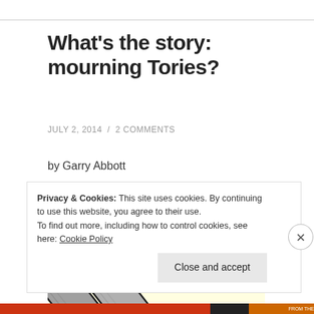What's the story: mourning Tories?
JULY 2, 2014  /  2 COMMENTS
by Garry Abbott
[Figure (illustration): Illustration on a pale yellow background showing the front end of a double-barrel shotgun, with two circular dark barrels facing the viewer, drawn in a cartoon style with grey shading and black outlines.]
Privacy & Cookies: This site uses cookies. By continuing to use this website, you agree to their use.
To find out more, including how to control cookies, see here: Cookie Policy
Close and accept